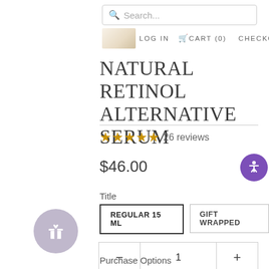Search... LOG IN  CART (0)  CHECKOUT
NATURAL RETINOL ALTERNATIVE SERUM
★★★★★ 26 reviews
$46.00
Title
REGULAR 15 ML   GIFT WRAPPED
− 1 +
Purchase Options